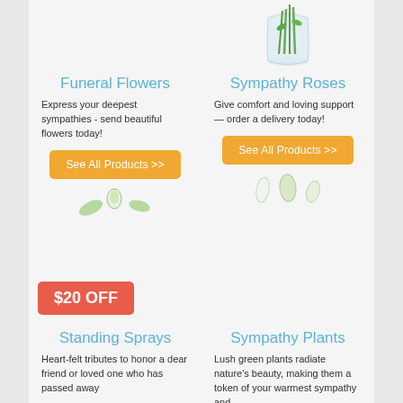[Figure (illustration): Glass vase with green stems and leaves, partially visible at top right]
Funeral Flowers
Express your deepest sympathies - send beautiful flowers today!
See All Products >>
[Figure (illustration): Small decorative flower/leaf images below Funeral Flowers button]
Sympathy Roses
Give comfort and loving support — order a delivery today!
See All Products >>
[Figure (illustration): Small decorative petal images below Sympathy Roses button]
$20 OFF
Standing Sprays
Heart-felt tributes to honor a dear friend or loved one who has passed away
Sympathy Plants
Lush green plants radiate nature's beauty, making them a token of your warmest sympathy and